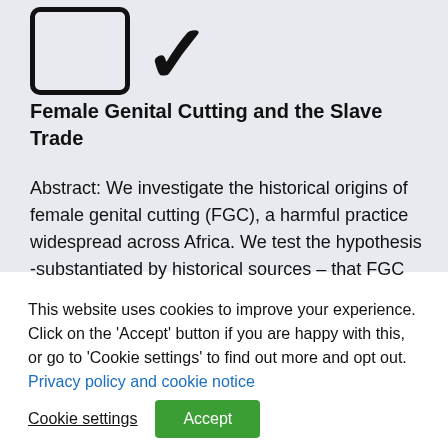[Figure (logo): Logo with rounded rectangle outline and chevron/check mark icon]
Female Genital Cutting and the Slave Trade
Abstract: We investigate the historical origins of female genital cutting (FGC), a harmful practice widespread across Africa. We test the hypothesis -substantiated by historical sources – that FGC was connected to the Red Sea slave trade route. where women were...
This website uses cookies to improve your experience. Click on the 'Accept' button if you are happy with this, or go to 'Cookie settings' to find out more and opt out. Privacy policy and cookie notice
Cookie settings
Accept